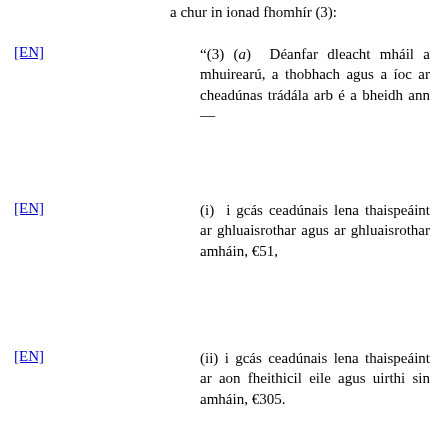a chur in ionad fhomhír (3):
[EN]
"(3) (a) Déanfar dleacht mháil a mhuirearú, a thobhach agus a íoc ar cheadúnas trádála arb é a bheidh ann—
[EN]
(i) i gcás ceadúnais lena thaispeáint ar ghluaisrothar agus ar ghluaisrothar amháin, €51,
[EN]
(ii) i gcás ceadúnais lena thaispeáint ar aon fheithicil eile agus uirthi sin amháin, €305.